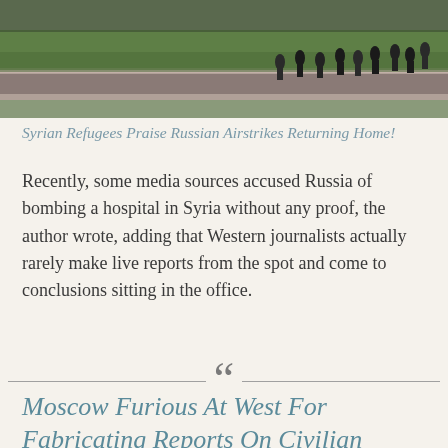[Figure (photo): Aerial or overhead view of people walking along a road or path beside a green grassy area, appearing to be refugees or migrants moving in a group.]
Syrian Refugees Praise Russian Airstrikes Returning Home!
Recently, some media sources accused Russia of bombing a hospital in Syria without any proof, the author wrote, adding that Western journalists actually rarely make live reports from the spot and come to conclusions sitting in the office.
[Figure (illustration): Decorative section divider with a large open double-quote mark (““) centered between two horizontal lines.]
Moscow Furious At West For Fabricating Reports On Civilian Casualties In Russian